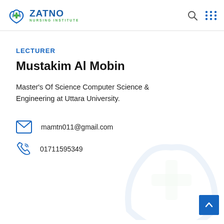ZATNO NURSING INSTITUTE
LECTURER
Mustakim Al Mobin
Master's Of Science Computer Science & Engineering at Uttara University.
mamtn011@gmail.com
01711595349